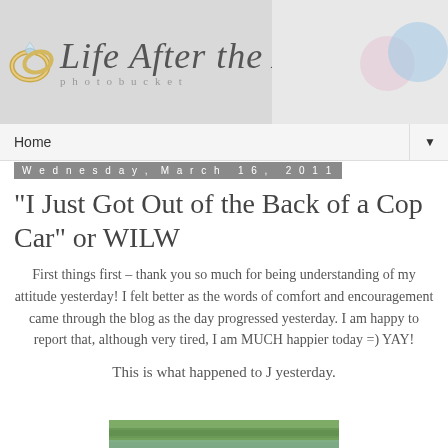[Figure (logo): Blog header logo for 'Life After the Aisle' with wedding rings icon on left, italic serif text, and colored bubbles on right on grey background]
Home ▼
Wednesday, March 16, 2011
"I Just Got Out of the Back of a Cop Car" or WILW
First things first – thank you so much for being understanding of my attitude yesterday! I felt better as the words of comfort and encouragement came through the blog as the day progressed yesterday. I am happy to report that, although very tired, I am MUCH happier today =) YAY!
This is what happened to J yesterday.
[Figure (photo): Partial photo of green outdoor scene at the bottom of the page]